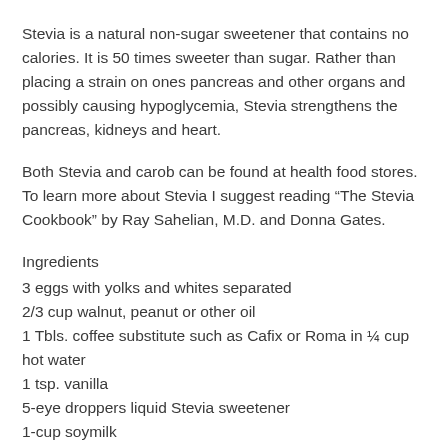Stevia is a natural non-sugar sweetener that contains no calories. It is 50 times sweeter than sugar. Rather than placing a strain on ones pancreas and other organs and possibly causing hypoglycemia, Stevia strengthens the pancreas, kidneys and heart.
Both Stevia and carob can be found at health food stores. To learn more about Stevia I suggest reading “The Stevia Cookbook” by Ray Sahelian, M.D. and Donna Gates.
Ingredients
3 eggs with yolks and whites separated
2/3 cup walnut, peanut or other oil
1 Tbls. coffee substitute such as Cafix or Roma in ¼ cup hot water
1 tsp. vanilla
5-eye droppers liquid Stevia sweetener
1-cup soymilk